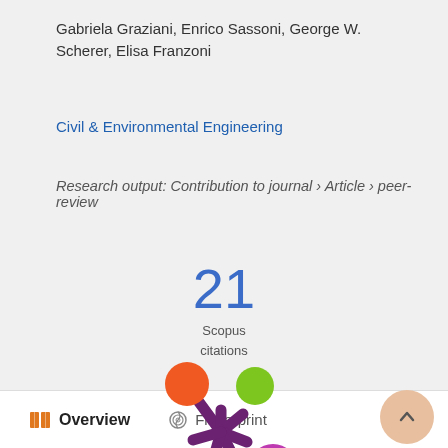Gabriela Graziani, Enrico Sassoni, George W. Scherer, Elisa Franzoni
Civil & Environmental Engineering
Research output: Contribution to journal › Article › peer-review
21
Scopus
citations
[Figure (logo): Altmetric donut-style logo with colored circles (orange, green, purple/magenta) and a dark purple asterisk/snowflake center]
Overview   Fingerprint